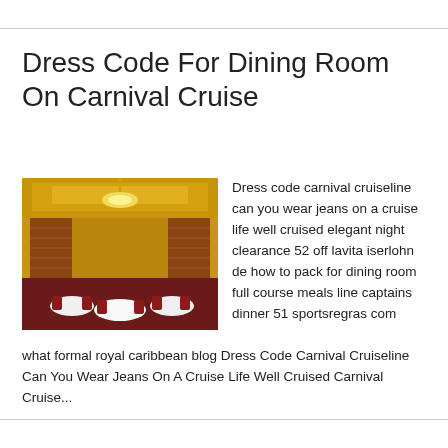Dress Code For Dining Room On Carnival Cruise
[Figure (photo): Interior of a Carnival Cruise ship dining room featuring grand staircases, ornate golden ceiling, chandeliers, white-clothed dining tables, and red upholstered chairs]
Dress code carnival cruiseline can you wear jeans on a cruise life well cruised elegant night clearance 52 off lavita iserlohn de how to pack for dining room full course meals line captains dinner 51 sportsregras com what formal royal caribbean blog Dress Code Carnival Cruiseline Can You Wear Jeans On A Cruise Life Well Cruised Carnival Cruise...